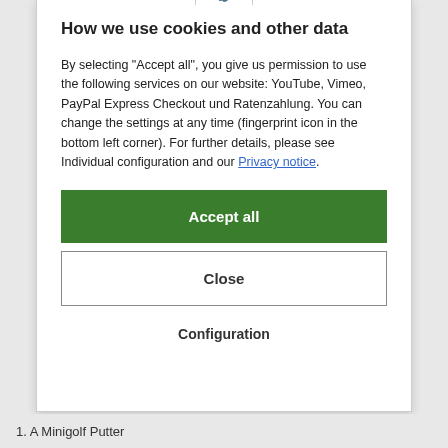[Figure (illustration): Fingerprint icon at the top of the cookie consent modal dialog]
How we use cookies and other data
By selecting "Accept all", you give us permission to use the following services on our website: YouTube, Vimeo, PayPal Express Checkout und Ratenzahlung. You can change the settings at any time (fingerprint icon in the bottom left corner). For further details, please see Individual configuration and our Privacy notice.
Accept all
Close
Configuration
1. A Minigolf Putter